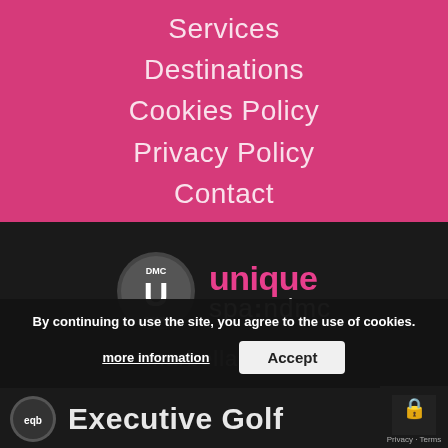Services
Destinations
Cookies Policy
Privacy Policy
Contact
[Figure (logo): Unique Spain DMC logo with DMC circle badge and pink/grey text reading 'unique spain dmc']
[Figure (logo): Marbella Coach logo (partially visible)]
By continuing to use the site, you agree to the use of cookies.
more information
Accept
[Figure (logo): Executive Golf logo with eqb circle badge]